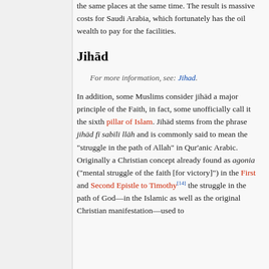the same places at the same time. The result is massive costs for Saudi Arabia, which fortunately has the oil wealth to pay for the facilities.
Jihād
For more information, see: Jihad.
In addition, some Muslims consider jihād a major principle of the Faith, in fact, some unofficially call it the sixth pillar of Islam. Jihād stems from the phrase jihād fī sabīli llāh and is commonly said to mean the "struggle in the path of Allah" in Qur'anic Arabic. Originally a Christian concept already found as agonia ("mental struggle of the faith [for victory]") in the First and Second Epistle to Timothy[14] the struggle in the path of God—in the Islamic as well as the original Christian manifestation—used to